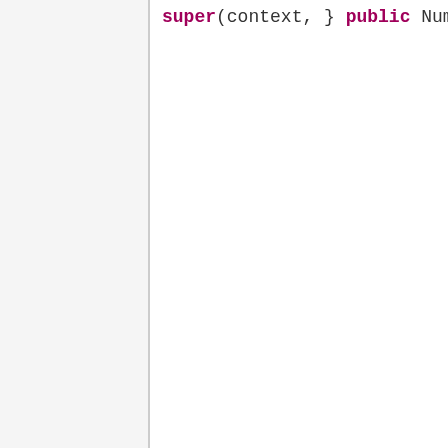[Figure (screenshot): Source code screenshot showing Java class methods with syntax highlighting. Left panel is blank/gray. Right panel shows code with keywords 'public', 'super', 'void', 'boolean', 'return' in bold magenta, and identifiers in dark gray on white background.]